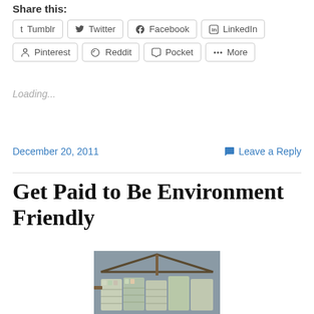Share this:
Tumblr  Twitter  Facebook  LinkedIn
Pinterest  Reddit  Pocket  More
Loading...
December 20, 2011    Leave a Reply
Get Paid to Be Environment Friendly
[Figure (photo): Photo of baled recycled materials such as crushed cans and plastic, stacked in a recycling facility warehouse.]